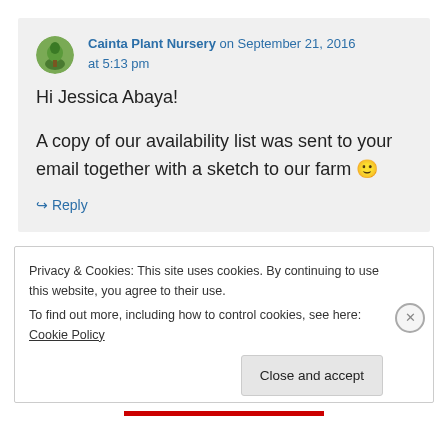Cainta Plant Nursery on September 21, 2016 at 5:13 pm
Hi Jessica Abaya!

A copy of our availability list was sent to your email together with a sketch to our farm 🙂
↪ Reply
Privacy & Cookies: This site uses cookies. By continuing to use this website, you agree to their use.
To find out more, including how to control cookies, see here: Cookie Policy
Close and accept